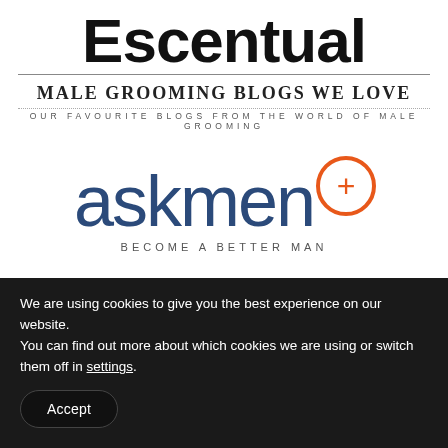Escentual
MALE GROOMING BLOGS WE LOVE
OUR FAVOURITE BLOGS FROM THE WORLD OF MALE GROOMING
[Figure (logo): AskMen logo with orange plus symbol and tagline 'BECOME A BETTER MAN']
We are using cookies to give you the best experience on our website.
You can find out more about which cookies we are using or switch them off in settings.
Accept